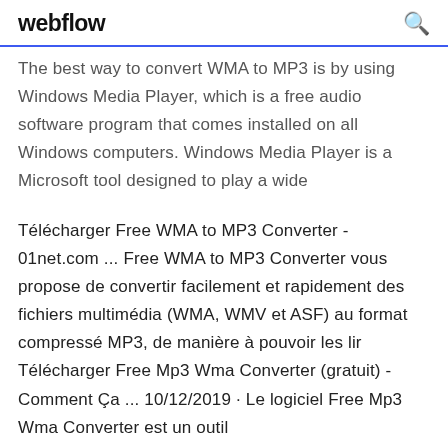webflow
The best way to convert WMA to MP3 is by using Windows Media Player, which is a free audio software program that comes installed on all Windows computers. Windows Media Player is a Microsoft tool designed to play a wide
Télécharger Free WMA to MP3 Converter - 01net.com ... Free WMA to MP3 Converter vous propose de convertir facilement et rapidement des fichiers multimédia (WMA, WMV et ASF) au format compressé MP3, de manière à pouvoir les lir Télécharger Free Mp3 Wma Converter (gratuit) - Comment Ça ... 10/12/2019 · Le logiciel Free Mp3 Wma Converter est un outil